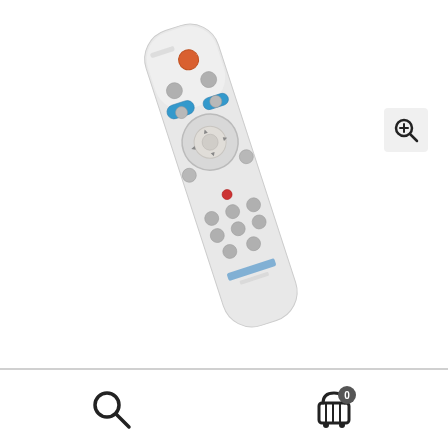[Figure (photo): A white Samsung TV remote control tilted at an angle against a white background. The remote has multiple buttons including a red/orange power button at the top, blue function buttons, a circular navigation pad in the center, and various gray media control buttons below. A brand logo is visible near the bottom of the remote.]
[Figure (illustration): Zoom-in magnifier icon button in a light gray rounded square, positioned in the upper right area of the main image.]
[Figure (illustration): Bottom navigation bar with a search (magnifier) icon on the left and a shopping cart icon with badge showing '0' on the right.]